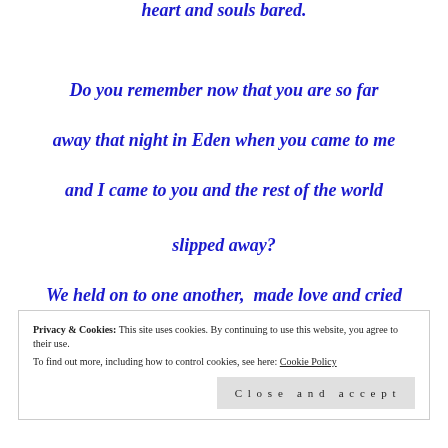heart and souls bared.
Do you remember now that you are so far
away that night in Eden when you came to me
and I came to you and the rest of the world
slipped away?
We held on to one another,  made love and cried
Privacy & Cookies: This site uses cookies. By continuing to use this website, you agree to their use. To find out more, including how to control cookies, see here: Cookie Policy